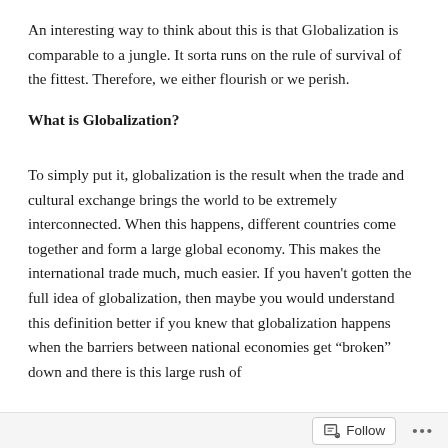An interesting way to think about this is that Globalization is comparable to a jungle. It sorta runs on the rule of survival of the fittest. Therefore, we either flourish or we perish.
What is Globalization?
To simply put it, globalization is the result when the trade and cultural exchange brings the world to be extremely interconnected. When this happens, different countries come together and form a large global economy. This makes the international trade much, much easier. If you haven't gotten the full idea of globalization, then maybe you would understand this definition better if you knew that globalization happens when the barriers between national economies get “broken” down and there is this large rush of
Follow ...